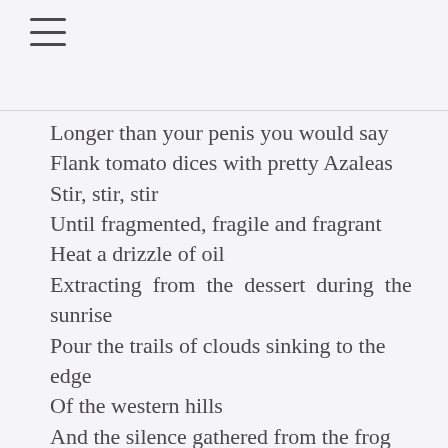≡
Longer than your penis you would say
Flank tomato dices with pretty Azaleas
Stir, stir, stir
Until fragmented, fragile and fragrant
Heat a drizzle of oil
Extracting from the dessert during the sunrise
Pour the trails of clouds sinking to the edge
Of the western hills
And the silence gathered from the frog pond
Wait for 1 minute
Or wait for the incense to burn, or roll the dice
Add...